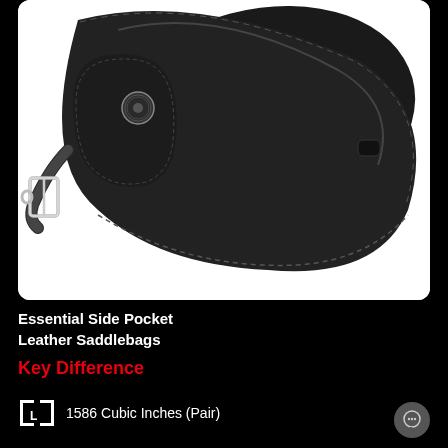[Figure (photo): Black leather motorcycle saddlebag with a side pocket, buckle strap, and Harley-Davidson emblem, shown against white background]
Essential Side Pocket
Leather Saddlebags
Key Difference
1586 Cubic Inches (Pair)